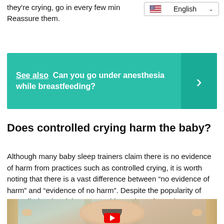they're crying, go in every few min... Reassure them.
English
See also  Can you go under anesthesia while breastfeeding?
Does controlled crying harm the baby?
Although many baby sleep trainers claim there is no evidence of harm from practices such as controlled crying, it is worth noting that there is a vast difference between “no evidence of harm” and “evidence of no harm”. Despite the popularity of controlled crying, it is not an evidence-based practice.
[Figure (photo): Photo of a crying baby in a crib, with a YouTube play button visible at the bottom]